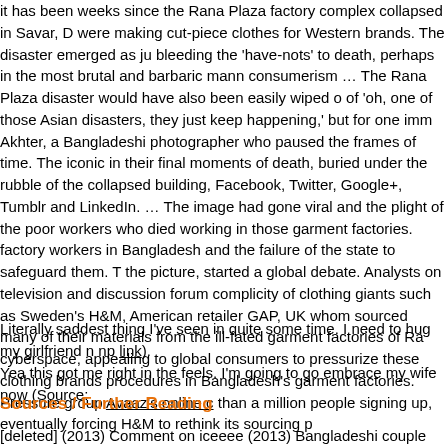It has been weeks since the Rana Plaza factory complex collapsed in Savar, Dhaka. Workers were making cut-piece clothes for Western brands. The disaster emerged as just another way of bleeding the 'have-nots' to death, perhaps in the most brutal and barbaric manner possible of consumerism … The Rana Plaza disaster would have also been easily wiped out under the wave of 'oh, one of those Asian disasters, they just keep happening,' but for one immortal image by Taslima Akhter, a Bangladeshi photographer who paused the frames of time. The iconic image of a couple in their final moments of death, buried under the rubble of the collapsed building, went viral on Facebook, Twitter, Google+, Tumblr and LinkedIn. … The image had gone viral, bringing to fore and the plight of the poor workers who died working in those garment factories. It highlighted the factory workers in Bangladesh and the failure of the state to safeguard them. The image and behind the picture, started a global debate. Analysts on television and discussion forums questioned the complicity of clothing giants such as Sweden's H&M, American retailer GAP, UK's Primark, all of whom sourced many of their materials from the ill-fated garment factories of Rana Plaza, flooded cyberspace, appealing to global consumers to pressurize these clothing brands to adopt safety procedures in Bangladesh's garment factories. Pressure group Avaaz's online campaign garnered more than a million people signing up, eventually forcing H&M to rethink its sourcing policies.
Literally saddest thing I've seen in quite some time. I need to hug my girlfriend now (Source: np link).
Yea this got me right in the feels. I'm going to go embrace my wife now (Source:
Sources / Further Reading
[deleted] (2013) Comment on iceeee (2013) Bangladeshi couple dies embracing